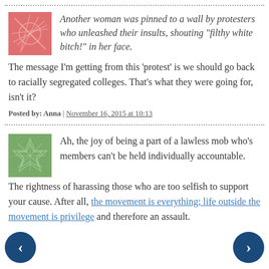Another woman was pinned to a wall by protesters who unleashed their insults, shouting “filthy white bitch!” in her face.
The message I'm getting from this 'protest' is we should go back to racially segregated colleges. That's what they were going for, isn't it?
Posted by: Anna | November 16, 2015 at 10:13
Ah, the joy of being a part of a lawless mob who's members can't be held individually accountable. The rightness of harassing those who are too selfish to support your cause. After all, the movement is everything; life outside the movement is privilege and therefore an assault.